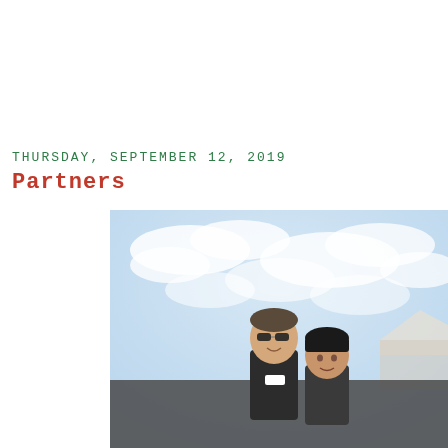THURSDAY, SEPTEMBER 12, 2019
Partners
[Figure (photo): Two people posing outdoors under a partly cloudy sky, a man with sunglasses and a woman with dark bangs, standing in front of what appears to be a building.]